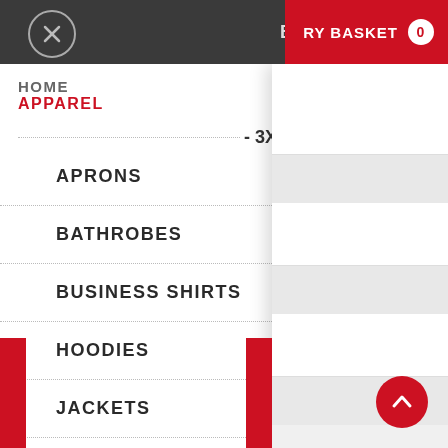BACK | RY BASKET 0
HOME
APPAREL
APRONS
BATHROBES
BUSINESS SHIRTS
HOODIES
JACKETS
POLO SHIRTS
SCARVES
- 3XL